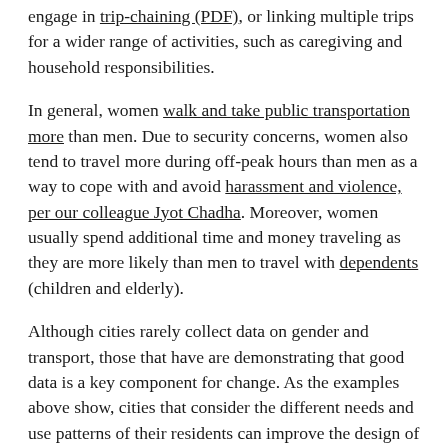engage in trip-chaining (PDF), or linking multiple trips for a wider range of activities, such as caregiving and household responsibilities.
In general, women walk and take public transportation more than men. Due to security concerns, women also tend to travel more during off-peak hours than men as a way to cope with and avoid harassment and violence, per our colleague Jyot Chadha. Moreover, women usually spend additional time and money traveling as they are more likely than men to travel with dependents (children and elderly).
Although cities rarely collect data on gender and transport, those that have are demonstrating that good data is a key component for change. As the examples above show, cities that consider the different needs and use patterns of their residents can improve the design of their transit systems, increase ridership and help to create a more sustainable, low-emissions future for their countries.